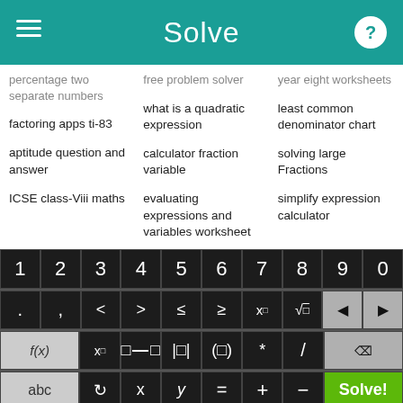Solve
percentage two separate numbers
factoring apps ti-83
aptitude question and answer
ICSE class-Viii maths
free problem solver
what is a quadratic expression
calculator fraction variable
evaluating expressions and variables worksheet
year eight worksheets
least common denominator chart
solving large Fractions
simplify expression calculator
[Figure (screenshot): On-screen math keyboard with digit keys 1-0, symbol keys including <, >, ≤, ≥, x^□, √□, backspace arrows, f(x), subscript x, fraction, absolute value, parentheses, *, /, delete, abc, rotation symbol, x, y, =, +, -, and green Solve! button]